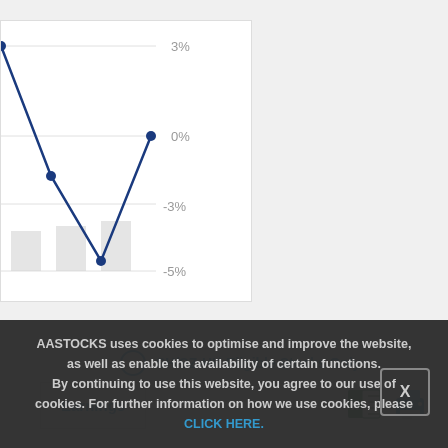[Figure (line-chart): Partial line chart visible in top-left corner showing percentage values from approximately -5% to 3%, with a dark blue line with data points and light gray bars. Y-axis labels: 3%, 0%, -3%, -5%.]
SH/SZ-HK Eligible Stocks Only
Earnings
AASTOCKS uses cookies to optimise and improve the website, as well as enable the availability of certain functions. By continuing to use this website, you agree to our use of cookies. For further information on how we use cookies, please CLICK HERE.